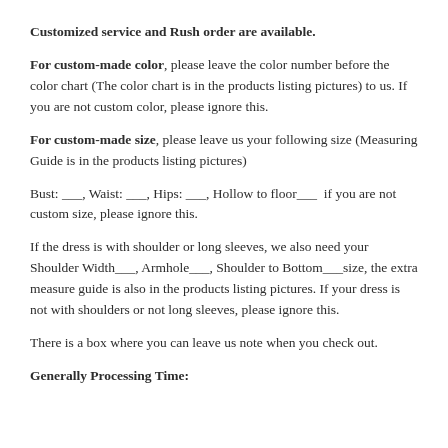Customized service and Rush order are available.
For custom-made color, please leave the color number before the color chart (The color chart is in the products listing pictures) to us. If you are not custom color, please ignore this.
For custom-made size, please leave us your following size (Measuring Guide is in the products listing pictures)
Bust: ___, Waist: ___, Hips: ___, Hollow to floor___  if you are not custom size, please ignore this.
If the dress is with shoulder or long sleeves, we also need your Shoulder Width___, Armhole___, Shoulder to Bottom___size, the extra measure guide is also in the products listing pictures. If your dress is not with shoulders or not long sleeves, please ignore this.
There is a box where you can leave us note when you check out.
Generally Processing Time: